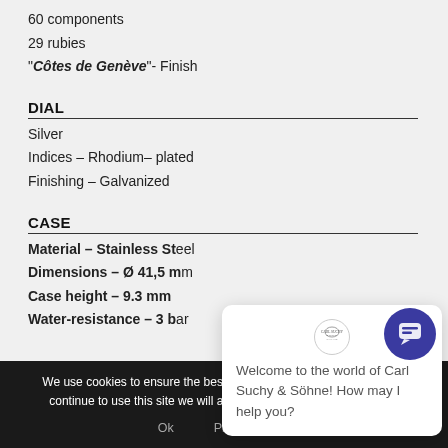60 components
29 rubies
“Côtes de Genève”- Finish
DIAL
Silver
Indices – Rhodium– plated
Finishing – Galvanized
CASE
Material – Stainless St[eel]
Dimensions – Ø 41,5 m[m]
Case height – 9.3 mm
Water-resistance – 3 b[ar]
[Figure (screenshot): Chat popup: Logo of Carl Suchy & Söhne with X close button. Text: Welcome to the world of Carl Suchy & Söhne! How may I help you?]
We use cookies to ensure the best experience on our website. If you continue to use this site we will assume that you are happy with it.
Ok    Privacy policy